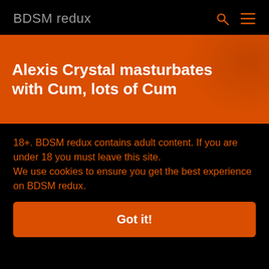BDSM redux
Alexis Crystal masturbates with Cum, lots of Cum
18+. BDSM redux contains adult content. If you are under 18 you must leave this site.
We use cookies to ensure you get the best experience on BDSM redux.
Got it!